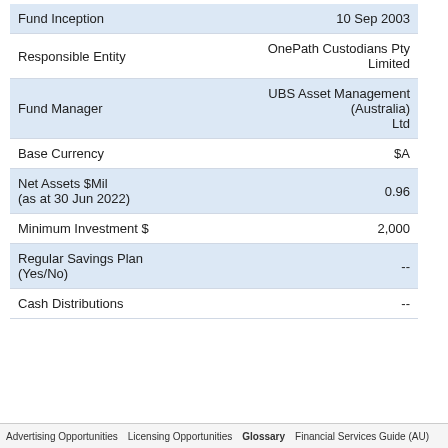|  |  |
| --- | --- |
| Fund Inception | 10 Sep 2003 |
| Responsible Entity | OnePath Custodians Pty Limited |
| Fund Manager | UBS Asset Management (Australia) Ltd |
| Base Currency | $A |
| Net Assets $Mil
(as at 30 Jun 2022) | 0.96 |
| Minimum Investment $ | 2,000 |
| Regular Savings Plan
(Yes/No) | -- |
| Cash Distributions | -- |
Advertising Opportunities   Licensing Opportunities   Glossary   Financial Services Guide (AU)